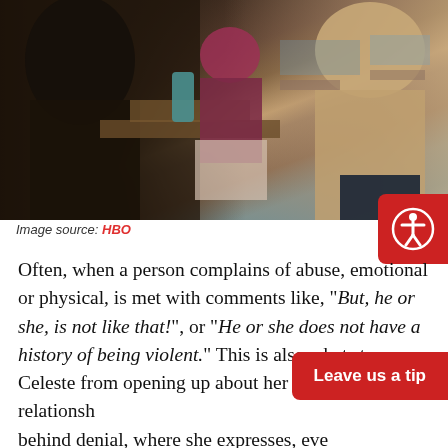[Figure (photo): Scene from HBO show Big Little Lies showing people sitting at a cafe table, a woman in a burgundy top and floral skirt, and another woman in a beige coat on the right side]
Image source: HBO
Often, when a person complains of abuse, emotional or physical, is met with comments like, "But, he or she, is not like that!", or "He or she does not have a history of being violent." This is also what stops Celeste from opening up about her abusive relationship behind denial, where she expresses, even to her therapist that she, mostly, is happy in the relationship. In a normal circumstance, for Celeste and Perry, Perry finds fault with little things. When Celeste